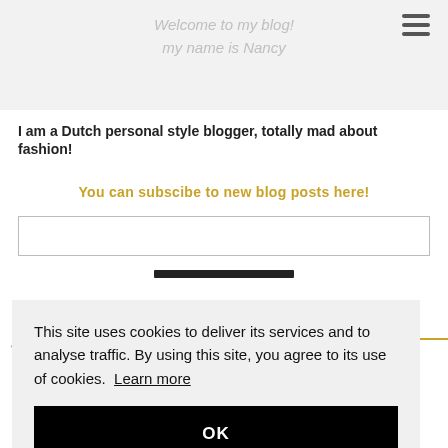Welcome to my blog!
my name is Nancy
I am a Dutch personal style blogger, totally mad about fashion!
You can subscibe to new blog posts here!
This site uses cookies to deliver its services and to analyse traffic. By using this site, you agree to its use of cookies. Learn more
OK